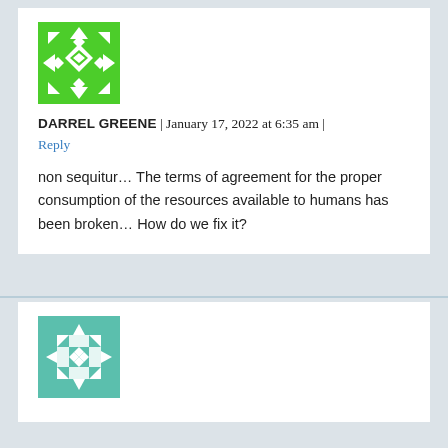[Figure (illustration): Green geometric quilt-pattern avatar icon for user Darrel Greene]
DARREL GREENE | January 17, 2022 at 6:35 am | Reply
non sequitur… The terms of agreement for the proper consumption of the resources available to humans has been broken… How do we fix it?
[Figure (illustration): Teal/mint geometric quilt-pattern avatar icon for second commenter]